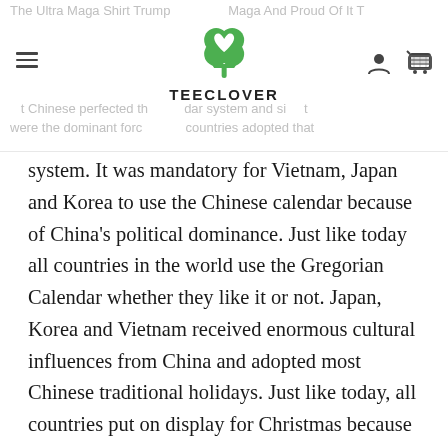TEECLOVER (logo with navigation icons)
The Ultra Maga Shirt Trump... Maga And Proud Of It T ... Chinese perfected the ... dar system and si... the dominant forc... countries adopted that system. It was mandatory for Vietnam, Japan and Korea to use the Chinese calendar because of China's political dominance. Just like today all countries in the world use the Gregorian Calendar whether they like it or not. Japan, Korea and Vietnam received enormous cultural influences from China and adopted most Chinese traditional holidays. Just like today, all countries put on display for Christmas because of Western influence. It is a fact that most traditions observed during Vietnamese New Year are derived and shared with Chinese culture. Traditions like lion dancing, red envelopes, red couplets, give new year greetings to relatives and the elders, light incense and worship ancestors. There are also superstitions such as not sweeping your house on first new year day. Of course, there are minor differences, but they are different even within China and within Vietnam. These